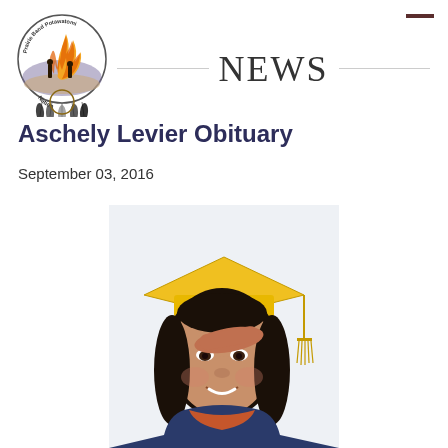[Figure (logo): Prairie Band Potawatomi Nation circular logo with flame, figures, and feathers]
NEWS
Aschely Levier Obituary
September 03, 2016
[Figure (photo): Young woman wearing yellow graduation cap and gown, smiling, with dark hair]